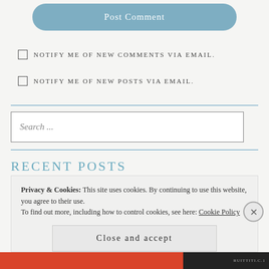[Figure (screenshot): Post Comment button - rounded, steel blue background with white text]
NOTIFY ME OF NEW COMMENTS VIA EMAIL.
NOTIFY ME OF NEW POSTS VIA EMAIL.
Search ...
RECENT POSTS
Privacy & Cookies: This site uses cookies. By continuing to use this website, you agree to their use.
To find out more, including how to control cookies, see here: Cookie Policy
Close and accept